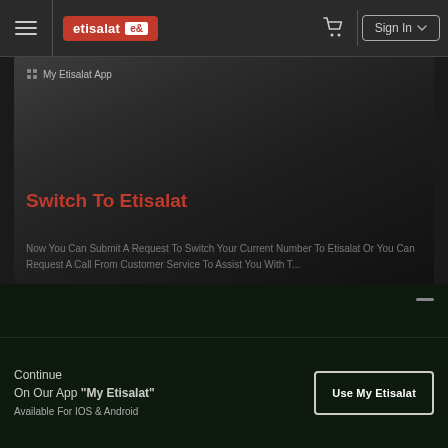etisalat e& | Sign In
[Figure (screenshot): My Etisalat App promotional banner with dark gradient background]
Switch To Etisalat
Now You Can Submit A Request To Switch Your Current Number To Etisalat Or You Can Request A Call From Customer Service To Assist You With T...
Continue
On Our App "My Etisalat"
Available For IOS & Android
Use My Etisalat